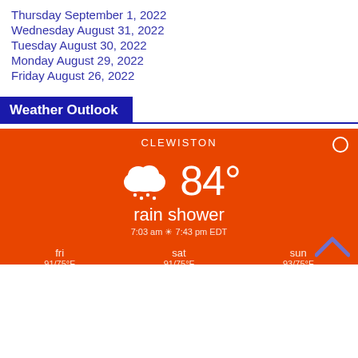Thursday September 1, 2022
Wednesday August 31, 2022
Tuesday August 30, 2022
Monday August 29, 2022
Friday August 26, 2022
Weather Outlook
[Figure (infographic): Weather widget showing Clewiston weather: 84° rain shower, 7:03 am to 7:43 pm EDT. Forecast shows fri 91/75°F, sat 91/75°F, sun 93/75°F. Orange background with cloud/rain icon.]